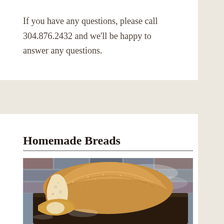If you have any questions, please call 304.876.2432 and we'll be happy to answer any questions.
Homemade Breads
[Figure (photo): A homemade bread loaf sliced on a dark wooden board with a brick wall background. The loaf shows a golden-brown crust with a white interior crumb visible from the cut end.]